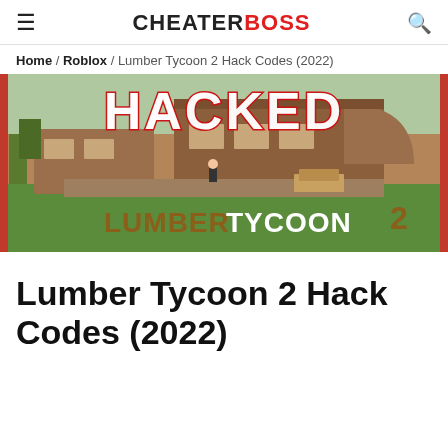≡  CHEATERBOSS  🔍
Home / Roblox / Lumber Tycoon 2 Hack Codes (2022)
[Figure (screenshot): Lumber Tycoon 2 game screenshot with 'HACKED' text overlay in white/red grunge font, showing a brown wooden building scene on green grass. Bottom text reads 'LUMBER TYCOON 2' with LUMBER in brown and TYCOON 2 in white bold.]
Lumber Tycoon 2 Hack Codes (2022)